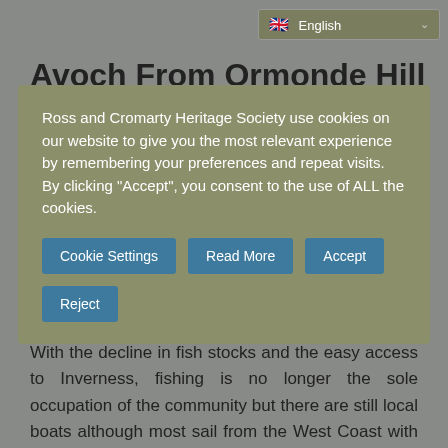🇬🇧 English
Avoch From Ormonde Hill
Ross and Cromarty Heritage Society use cookies on our website to give you the most relevant experience by remembering your preferences and repeat visits. By clicking "Accept", you consent to the use of ALL the cookies.
Cookie Settings | Read More | Accept | Reject
With the decline in fish stocks and the easy access to Inverness, fishing is no longer the sole occupation of the community but there are still local boats although most sail from the West Coast with their crews travelling to